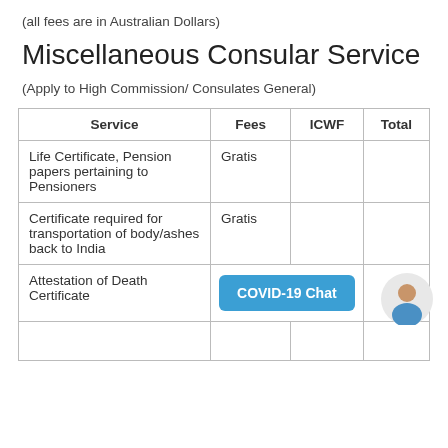(all fees are in Australian Dollars)
Miscellaneous Consular Service
(Apply to High Commission/ Consulates General)
| Service | Fees | ICWF | Total |
| --- | --- | --- | --- |
| Life Certificate, Pension papers pertaining to Pensioners | Gratis |  |  |
| Certificate required for transportation of body/ashes back to India | Gratis |  |  |
| Attestation of Death Certificate | [COVID-19 Chat button] |  |  |
|  |  |  |  |
[Figure (illustration): COVID-19 Chat button (blue rounded rectangle with white text) and a user avatar icon (person with blue shirt on grey circle background)]